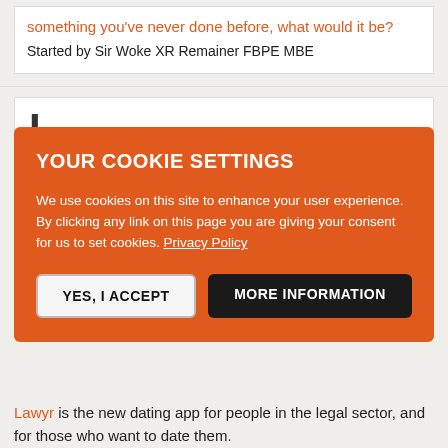something you've never done before, what would it be?
Started by Sir Woke XR Remainer FBPE MBE
YOUR COOKIE SETTINGS
We use cookies on this site to enhance your user experience. By clicking any link on this page you are giving your consent for us to set cookies. Privacy Policy
YES, I ACCEPT
MORE INFORMATION
Lawyr is the new dating app for people in the legal sector, and for those who want to date them.
Sign-up online, or download the app:
[Figure (logo): GET IT ON Google Play badge with Google Play triangle icon on black rounded rectangle background]